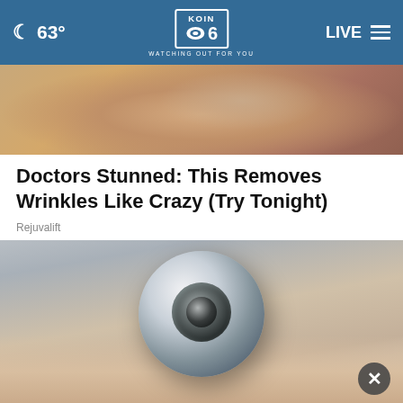KOIN 6 — WATCHING OUT FOR YOU | 63° | LIVE
[Figure (photo): Close-up photo of a person's neck/chin area showing skin texture]
Doctors Stunned: This Removes Wrinkles Like Crazy (Try Tonight)
Rejuvalift
[Figure (photo): Hand holding a round metallic device with a concentric circular chrome tip, close-up product shot]
[Figure (other): Eco Care Pest Control advertisement banner — WHERE THERE'S ONE, THERE ARE LIKELY THOUSANDS]